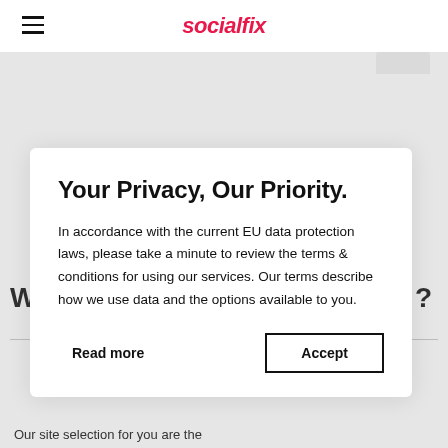socialfix
[Figure (screenshot): Privacy consent modal overlay on the socialfix website. Modal contains title 'Your Privacy, Our Priority.', body text about EU data protection laws, and two action buttons: 'Read more' and 'Accept'.]
Your Privacy, Our Priority.
In accordance with the current EU data protection laws, please take a minute to review the terms & conditions for using our services. Our terms describe how we use data and the options available to you.
Read more
Accept